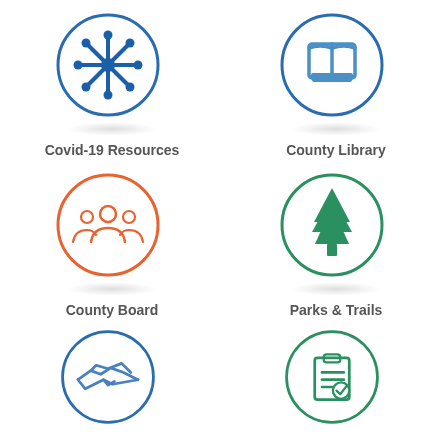[Figure (infographic): Circle icon with blue snowflake/virus symbol — Covid-19 Resources]
Covid-19 Resources
[Figure (infographic): Circle icon with blue book symbol — County Library]
County Library
[Figure (infographic): Circle icon with orange people/board members symbol — County Board]
County Board
[Figure (infographic): Circle icon with green tree symbol — Parks & Trails]
Parks & Trails
[Figure (infographic): Circle icon with blue handshake symbol — partially visible]
[Figure (infographic): Circle icon with green clipboard/checklist symbol — partially visible]